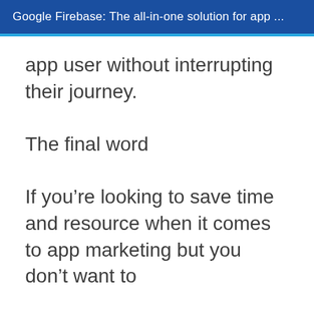Google Firebase: The all-in-one solution for app ...
app user without interrupting their journey.
The final word
If you’re looking to save time and resource when it comes to app marketing but you don’t want to